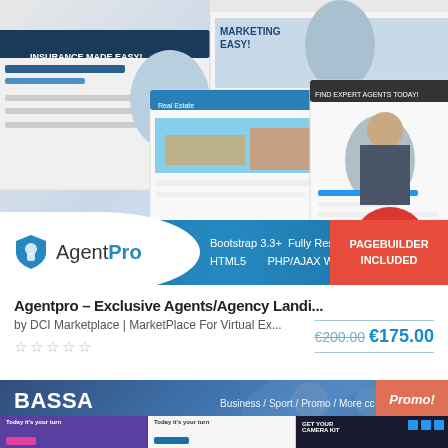[Figure (screenshot): AgentPro website template promotional banner showing multiple webpage mockups with insurance/real estate/financial themes, featuring a blue badge with 'AgentPro', text 'Bootstrap 3.3+ HTML5 Fully Responsive PHP/AJAX Working forms', a red circle with 'NEW' and 'PAGEBUILDER INCLUDED' badge]
Agentpro – Exclusive Agents/Agency Landi...
by DCI Marketplace | MarketPlace For Virtual Ex...
☆☆☆☆☆
€200.00 €175.00
[Figure (screenshot): BASSA Multipurpose Responsive Landing Page promotional banner with blue overlay, showing 'Business / Sport / Promo / More cc' text, 'Promo!' badge in coral/salmon color, and three website template thumbnails at the bottom showing purple, white, and dark themed pages]